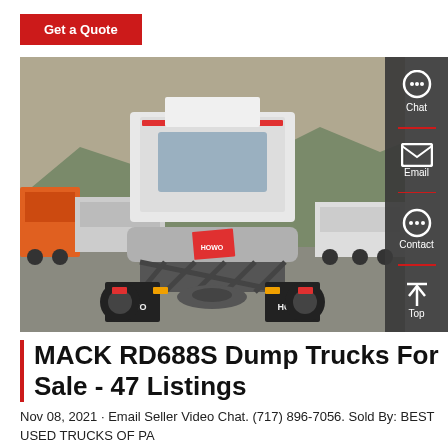Get a Quote
[Figure (photo): Rear view of a HOWO truck in a parking lot with multiple trucks in the background, mountainous terrain visible]
MACK RD688S Dump Trucks For Sale - 47 Listings
Nov 08, 2021 · Email Seller Video Chat. (717) 896-7056. Sold By: BEST USED TRUCKS OF PA